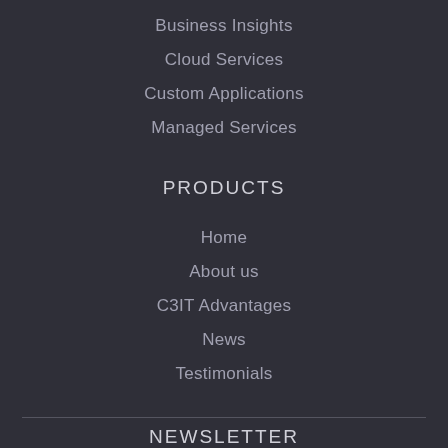Business Insights
Cloud Services
Custom Applications
Managed Services
PRODUCTS
Home
About us
C3IT Advantages
News
Testimonials
NEWSLETTER